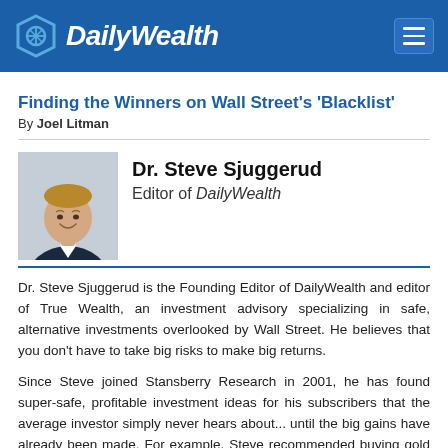DailyWealth
Finding the Winners on Wall Street's 'Blacklist'
By Joel Litman
[Figure (photo): Headshot photo of Dr. Steve Sjuggerud, a man in a suit smiling]
Dr. Steve Sjuggerud
Editor of DailyWealth
Dr. Steve Sjuggerud is the Founding Editor of DailyWealth and editor of True Wealth, an investment advisory specializing in safe, alternative investments overlooked by Wall Street. He believes that you don't have to take big risks to make big returns.
Since Steve joined Stansberry Research in 2001, he has found super-safe, profitable investment ideas for his subscribers that the average investor simply never hears about... until the big gains have already been made. For example, Steve recommended buying gold back when it was trading around $320 an ounce.